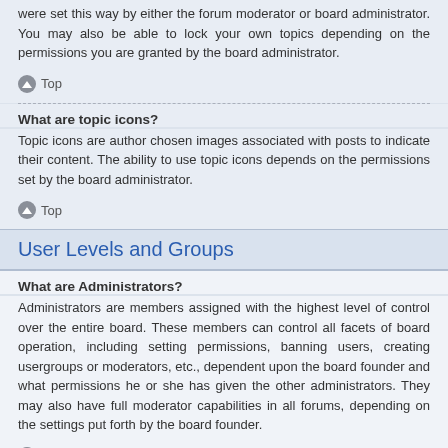were set this way by either the forum moderator or board administrator. You may also be able to lock your own topics depending on the permissions you are granted by the board administrator.
Top
What are topic icons?
Topic icons are author chosen images associated with posts to indicate their content. The ability to use topic icons depends on the permissions set by the board administrator.
Top
User Levels and Groups
What are Administrators?
Administrators are members assigned with the highest level of control over the entire board. These members can control all facets of board operation, including setting permissions, banning users, creating usergroups or moderators, etc., dependent upon the board founder and what permissions he or she has given the other administrators. They may also have full moderator capabilities in all forums, depending on the settings put forth by the board founder.
Top
What are Moderators?